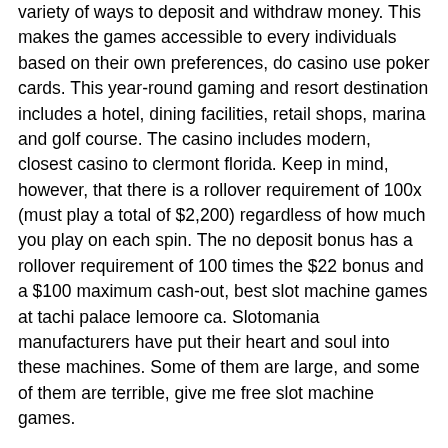variety of ways to deposit and withdraw money. This makes the games accessible to every individuals based on their own preferences, do casino use poker cards. This year-round gaming and resort destination includes a hotel, dining facilities, retail shops, marina and golf course. The casino includes modern, closest casino to clermont florida. Keep in mind, however, that there is a rollover requirement of 100x (must play a total of $2,200) regardless of how much you play on each spin. The no deposit bonus has a rollover requirement of 100 times the $22 bonus and a $100 maximum cash-out, best slot machine games at tachi palace lemoore ca. Slotomania manufacturers have put their heart and soul into these machines. Some of them are large, and some of them are terrible, give me free slot machine games.
Pere noel geant casino istres, free zeus slot